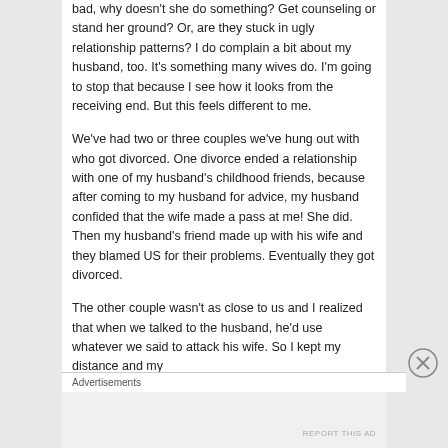bad, why doesn't she do something? Get counseling or stand her ground? Or, are they stuck in ugly relationship patterns? I do complain a bit about my husband, too. It's something many wives do. I'm going to stop that because I see how it looks from the receiving end. But this feels different to me.
We've had two or three couples we've hung out with who got divorced. One divorce ended a relationship with one of my husband's childhood friends, because after coming to my husband for advice, my husband confided that the wife made a pass at me! She did. Then my husband's friend made up with his wife and they blamed US for their problems. Eventually they got divorced.
The other couple wasn't as close to us and I realized that when we talked to the husband, he'd use whatever we said to attack his wife. So I kept my distance and my
Advertisements